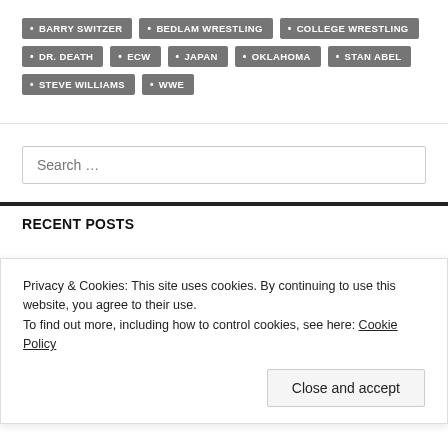BARRY SWITZER
BEDLAM WRESTLING
COLLEGE WRESTLING
DR. DEATH
ECW
JAPAN
OKLAHOMA
STAN ABEL
STEVE WILLIAMS
WWE
Search ...
RECENT POSTS
Privacy & Cookies: This site uses cookies. By continuing to use this website, you agree to their use.
To find out more, including how to control cookies, see here: Cookie Policy
Close and accept